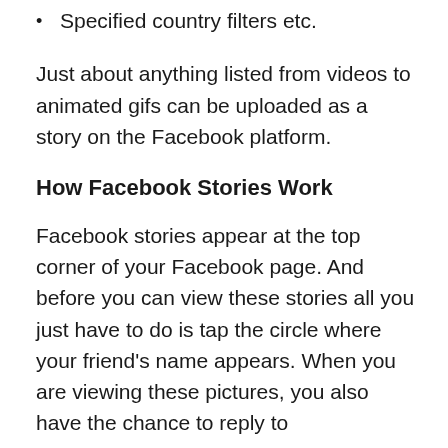Specified country filters etc.
Just about anything listed from videos to animated gifs can be uploaded as a story on the Facebook platform.
How Facebook Stories Work
Facebook stories appear at the top corner of your Facebook page. And before you can view these stories all you just have to do is tap the circle where your friend's name appears. When you are viewing these pictures, you also have the chance to reply to